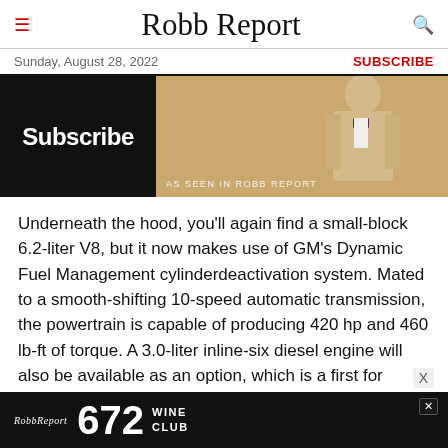Robb Report
Sunday, August 28, 2022
SUBSCRIBE
[Figure (photo): Advertisement banner showing a man in a tan suit with bow tie and 'Subscribe' text on black background, with 'AS SEEN IN ROBB REPORT' caption]
Underneath the hood, you'll again find a small-block 6.2-liter V8, but it now makes use of GM's Dynamic Fuel Management cylinderdeactivation system. Mated to a smooth-shifting 10-speed automatic transmission, the powertrain is capable of producing 420 hp and 460 lb-ft of torque. A 3.0-liter inline-six diesel engine will also be available as an option, which is a first for
[Figure (photo): Bottom advertisement for Robb Report 672 Wine Club, showing wine bottles on dark background]